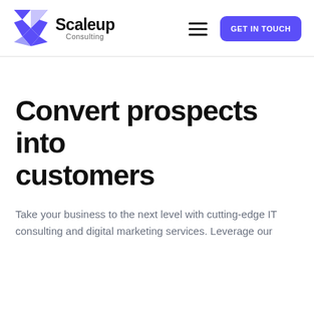[Figure (logo): Scaleup Consulting logo: blue geometric diamond/arrow shape icon on the left, with 'Scaleup' in bold black text and 'Consulting' in smaller gray text below]
Convert prospects into customers
Take your business to the next level with cutting-edge IT consulting and digital marketing services. Leverage our